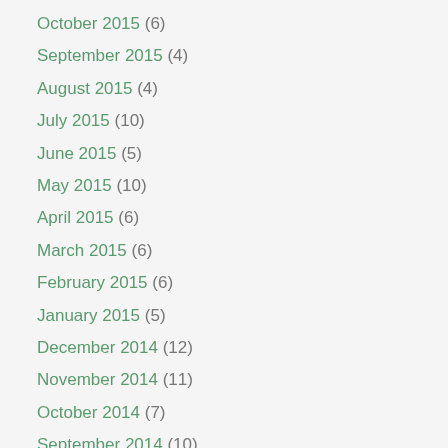October 2015 (6)
September 2015 (4)
August 2015 (4)
July 2015 (10)
June 2015 (5)
May 2015 (10)
April 2015 (6)
March 2015 (6)
February 2015 (6)
January 2015 (5)
December 2014 (12)
November 2014 (11)
October 2014 (7)
September 2014 (10)